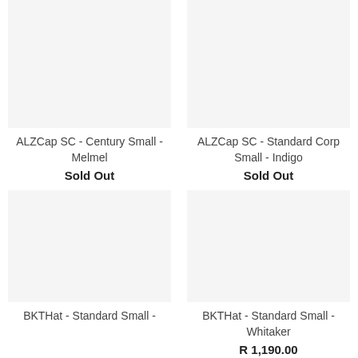ALZCap SC - Century Small - Melmel
Sold Out
ALZCap SC - Standard Corp Small - Indigo
Sold Out
BKTHat - Standard Small - Whitaker
R 1,190.00
BKTHat - Standard Small -